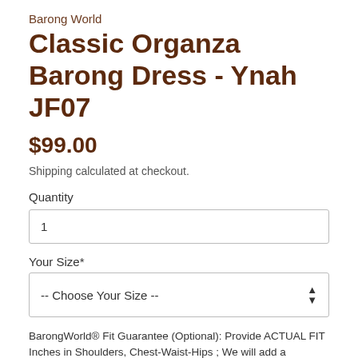Barong World
Classic Organza Barong Dress - Ynah JF07
$99.00
Shipping calculated at checkout.
Quantity
1
Your Size*
-- Choose Your Size --
BarongWorld® Fit Guarantee (Optional): Provide ACTUAL FIT Inches in Shoulders, Chest-Waist-Hips ; We will add a